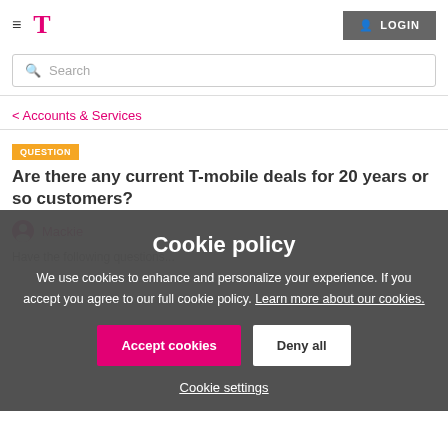T-Mobile header with hamburger menu, T-Mobile logo, and LOGIN button
Search
< Accounts & Services
QUESTION
Are there any current T-mobile deals for 20 years or so customers?
Mackie
Have the following questions...
[Figure (screenshot): Cookie policy overlay dialog on T-Mobile support page with title 'Cookie policy', descriptive text about cookies, Accept cookies button (pink), Deny all button (white), and Cookie settings link]
Cookie policy
We use cookies to enhance and personalize your experience. If you accept you agree to our full cookie policy. Learn more about our cookies.
Accept cookies
Deny all
Cookie settings